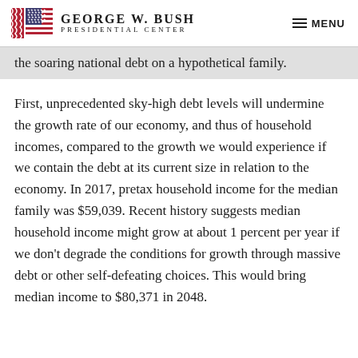George W. Bush Presidential Center | MENU
the soaring national debt on a hypothetical family.
First, unprecedented sky-high debt levels will undermine the growth rate of our economy, and thus of household incomes, compared to the growth we would experience if we contain the debt at its current size in relation to the economy. In 2017, pretax household income for the median family was $59,039. Recent history suggests median household income might grow at about 1 percent per year if we don't degrade the conditions for growth through massive debt or other self-defeating choices. This would bring median income to $80,371 in 2048.